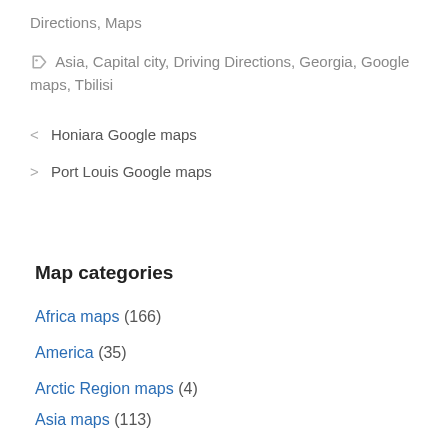Directions, Maps
Asia, Capital city, Driving Directions, Georgia, Google maps, Tbilisi
< Honiara Google maps
> Port Louis Google maps
Map categories
Africa maps (166)
America (35)
Arctic Region maps (4)
Asia maps (113)
Capital cities (197)